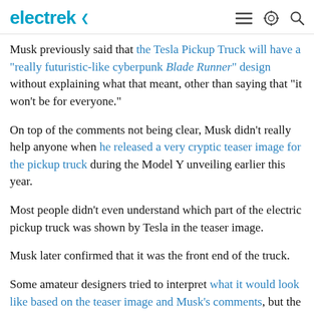electrek
Musk previously said that the Tesla Pickup Truck will have a "really futuristic-like cyberpunk Blade Runner" design without explaining what that meant, other than saying that "it won't be for everyone."
On top of the comments not being clear, Musk didn't really help anyone when he released a very cryptic teaser image for the pickup truck during the Model Y unveiling earlier this year.
Most people didn't even understand which part of the electric pickup truck was shown by Tesla in the teaser image.
Musk later confirmed that it was the front end of the truck.
Some amateur designers tried to interpret what it would look like based on the teaser image and Musk's comments, but the CEO said that he hadn't seen one render that looks like what Tesla is working on.